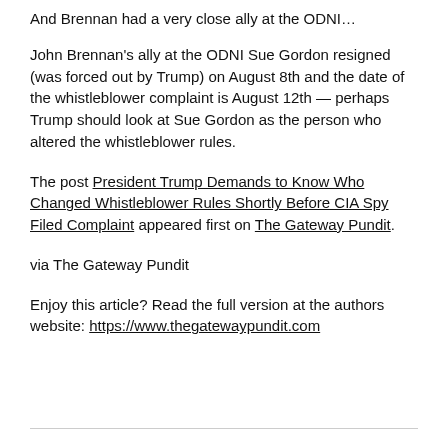And Brennan had a very close ally at the ODNI…
John Brennan's ally at the ODNI Sue Gordon resigned (was forced out by Trump) on August 8th and the date of the whistleblower complaint is August 12th — perhaps Trump should look at Sue Gordon as the person who altered the whistleblower rules.
The post President Trump Demands to Know Who Changed Whistleblower Rules Shortly Before CIA Spy Filed Complaint appeared first on The Gateway Pundit.
via The Gateway Pundit
Enjoy this article? Read the full version at the authors website: https://www.thegatewaypundit.com